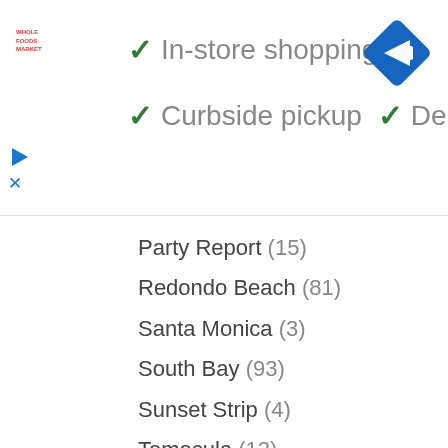[Figure (screenshot): Whole Foods Market logo in red text]
✓ In-store shopping
✓ Curbside pickup  ✓ Delivery
[Figure (illustration): Blue diamond navigation turn icon]
Party Report (15)
Redondo Beach (81)
Santa Monica (3)
South Bay (93)
Sunset Strip (4)
Temecula (12)
Venice Beach (5)
Mendocino (12)
Monterey (30)
Restaurant Reviews (10)
Napa (5)
Oakland (7)
Palm Springs (8)
Paso Robles (4)